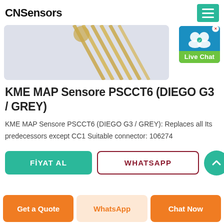CNSensors
[Figure (photo): Product photo showing gold metallic pins/connectors on a light grey background. KME MAP Sensore PSCCT6 part.]
KME MAP Sensore PSCCT6 (DIEGO G3 / GREY)
KME MAP Sensore PSCCT6 (DIEGO G3 / GREY): Replaces all Its predecessors except CC1 Suitable connector: 106274
FİYAT AL
WHATSAPP
Get a Quote   WhatsApp   Chat Now